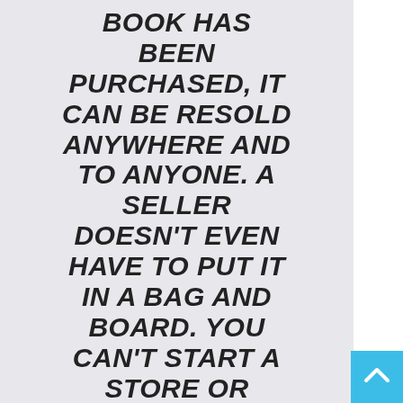BOOK HAS BEEN PURCHASED, IT CAN BE RESOLD ANYWHERE AND TO ANYONE. A SELLER DOESN'T EVEN HAVE TO PUT IT IN A BAG AND BOARD. YOU CAN'T START A STORE OR PRINT SOMETHING ON BAGGED MULTIPACKS THAT VIOLATES A PUBLISHER'S